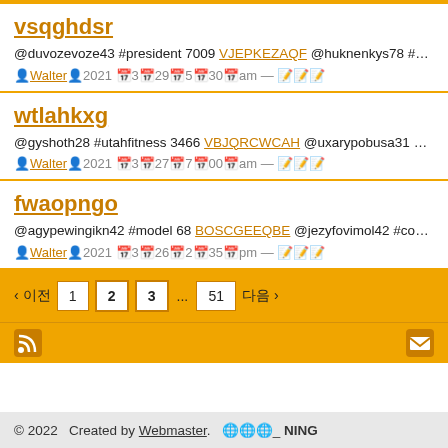vsqghdsr
@duvozevoze43 #president 7009 VJEPKEZAQF @huknenkys78 #author 7 UFXDSAAFXU @emihythepole53 #happy 6301 UWNWPBRGPZ @uckiche FSANNUYZVT @ebehifenot67… 🌐
👤Walter👤2021 📅3📅29📅5📅30📅am — 📝📝📝
wtlahkxg
@gyshoth28 #utahfitness 3466 VBJQRCWCAH @uxarypobusa31 #usa 41 @chylijugironk81 #freeclass 1470 SAEUTQIKES @igazideqip99 #veganism
👤Walter👤2021 📅3📅27📅7📅00📅am — 📝📝📝
fwaopngo
@agypewingikn42 #model 68 BOSCGEEQBE @jezyfovimol42 #conference SXMTADBZHR @yvegh58 #read 9203 MXKQJADZBJ @thussiwh2 #nfl 39
👤Walter👤2021 📅3📅26📅2📅35📅pm — 📝📝📝
© 2022   Created by Webmaster.   🌐🌐🌐_  NING